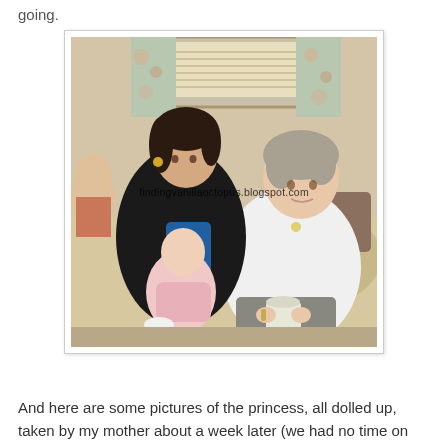going.
[Figure (photo): Indoor photo of two women sitting on a couch. A younger woman with dark hair holds a baby dressed in pink. An older woman with short gray hair wearing a white jacket sits beside her. A watermark reads 'findingvanillaoctopus.blogspot.com'. A window with blinds and floral curtains is visible in the background.]
And here are some pictures of the princess, all dolled up, taken by my mother about a week later (we had no time on